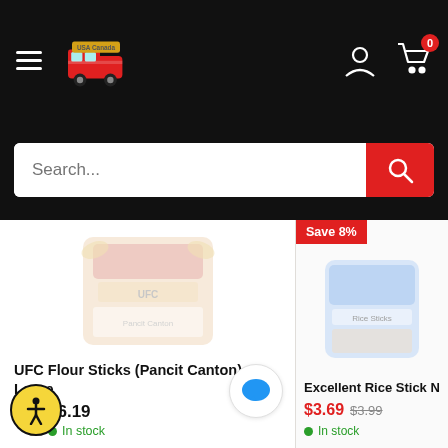Navigation bar with hamburger menu, USA Canada Goods logo, user account icon, and shopping cart with 0 items
Search...
[Figure (photo): UFC Flour Sticks (Pancit Canton) product package, faded/low opacity]
UFC Flour Sticks (Pancit Canton) - Large
$6.19
In stock
Save 8%
[Figure (photo): Excellent Rice Stick product package, partially cropped, faded]
Excellent Rice Stick N
$3.69  $3.99
In stock